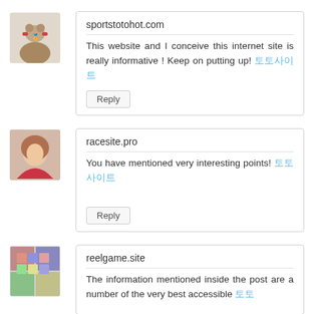sportstotohot.com
This website and I conceive this internet site is really informative ! Keep on putting up! 토토사이트
Reply
racesite.pro
You have mentioned very interesting points! 토토사이트
Reply
reelgame.site
The information mentioned inside the post are a number of the very best accessible 토토